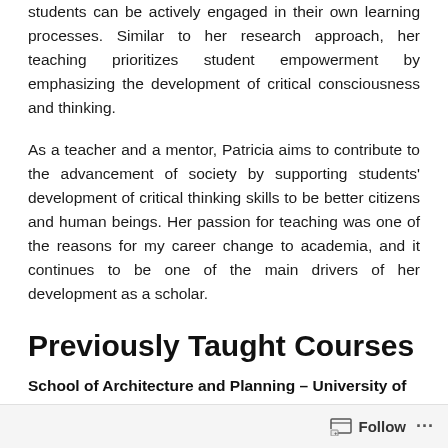students can be actively engaged in their own learning processes. Similar to her research approach, her teaching prioritizes student empowerment by emphasizing the development of critical consciousness and thinking.
As a teacher and a mentor, Patricia aims to contribute to the advancement of society by supporting students' development of critical thinking skills to be better citizens and human beings. Her passion for teaching was one of the reasons for my career change to academia, and it continues to be one of the main drivers of her development as a scholar.
Previously Taught Courses
School of Architecture and Planning – University of